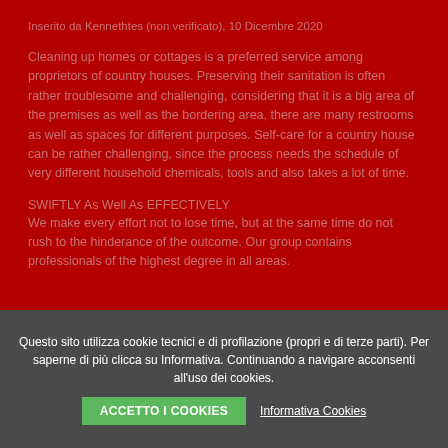Inserito da Kennethtes (non verificato), 10 Dicembre 2020
Cleaning up homes or cottages is a preferred service among proprietors of country houses. Preserving their sanitation is often rather troublesome and challenging, considering that it is a big area of the premises as well as the bordering area, there are many restrooms as well as spaces for different purposes. Self-care for a country house can be rather challenging, since the process needs the schedule of very different household chemicals, tools and also takes a lot of time.
SWIFTLY As Well As EFFECTIVELY
We make every effort not to lose time, but at the same time do not rush to the hinderance of the outcome. Our group contains professionals of the highest degree in all areas.
Questo sito utilizza cookie tecnici e di profilazione (propri e di terze parti). Per saperne di più clicca su Informativa. Continuando a navigare acconsenti all'uso dei cookies.
ACCETTO I COOKIES
Informativa Cookies